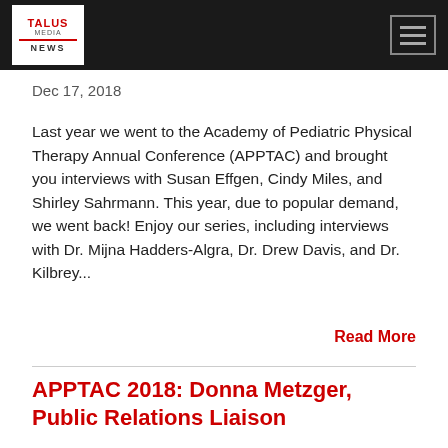[Figure (logo): Talus Media News logo — white box with red TALUS text, red horizontal line, NEWS text in dark letters, on black header bar]
Dec 17, 2018
Last year we went to the Academy of Pediatric Physical Therapy Annual Conference (APPTAC) and brought you interviews with Susan Effgen, Cindy Miles, and Shirley Sahrmann. This year, due to popular demand, we went back! Enjoy our series, including interviews with Dr. Mijna Hadders-Algra, Dr. Drew Davis, and Dr. Kilbrey...
Read More
APPTAC 2018: Donna Metzger, Public Relations Liaison
[Figure (screenshot): Podcast player widget showing TALUS MEDIA NEWS label, episode title APPTAC 2018: Donna Metzger, Public Relation..., play button, progress bar, time 00:00:00, and media control icons]